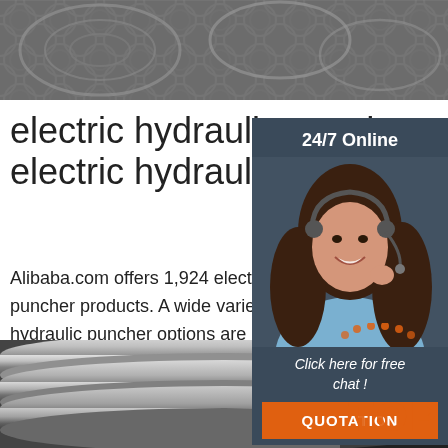[Figure (photo): Top photo showing metal wire coils in gray tone]
electric hydraulic puncher
electric hydraulic punch
Alibaba.com offers 1,924 electric hydrau puncher products. A wide variety of elect hydraulic puncher options are available t
[Figure (screenshot): Sidebar overlay with 24/7 Online label, female customer service agent with headset, and click here for free chat and QUOTATION button]
[Figure (other): Get Price green button]
[Figure (photo): Bottom photo showing polished metal rods/bars stacked together]
[Figure (logo): TOP orange watermark logo in bottom right corner]